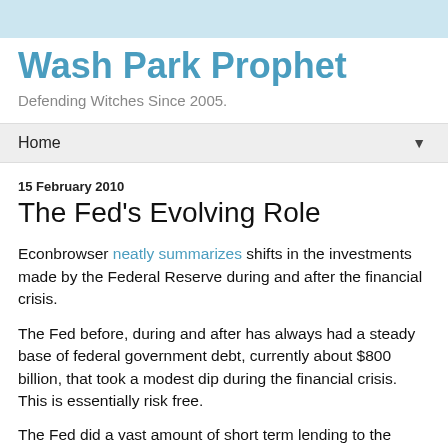Wash Park Prophet
Defending Witches Since 2005.
Home
15 February 2010
The Fed's Evolving Role
Econbrowser neatly summarizes shifts in the investments made by the Federal Reserve during and after the financial crisis.
The Fed before, during and after has always had a steady base of federal government debt, currently about $800 billion, that took a modest dip during the financial crisis. This is essentially risk free.
The Fed did a vast amount of short term lending to the